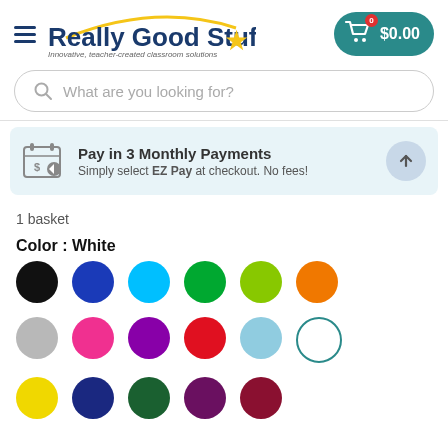[Figure (logo): Really Good Stuff logo with star and tagline 'Innovative, teacher-created classroom solutions']
[Figure (screenshot): Shopping cart button showing $0.00 with teal background]
[Figure (screenshot): Search bar with placeholder text 'What are you looking for?']
[Figure (infographic): Pay in 3 Monthly Payments banner - Simply select EZ Pay at checkout. No fees!]
1 basket
Color : White
[Figure (illustration): Color swatches: black, blue, cyan, green, lime, orange in first row; gray, pink, purple, red, light blue, white in second row; yellow, dark blue, dark green, dark purple, dark red partially visible in third row]